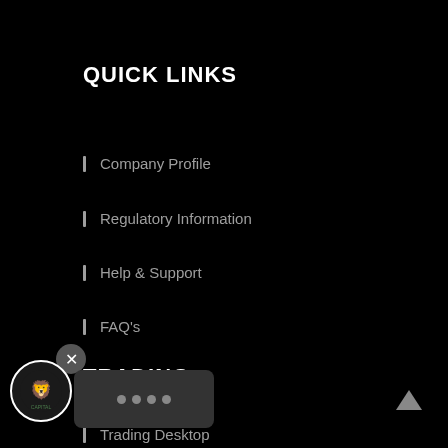QUICK LINKS
Company Profile
Regulatory Information
Help & Support
FAQ's
TRADING
Trading Desktop